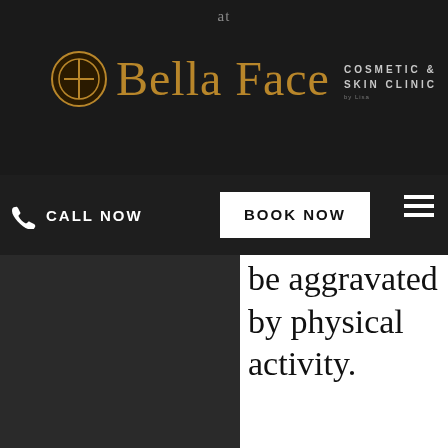at
[Figure (logo): Bella Face Cosmetic & Skin Clinic logo with circular phi symbol icon in gold and brand name in gold serif font]
CALL NOW
BOOK NOW
be aggravated by physical activity.
[Figure (photo): Broken/unloaded image placeholder]